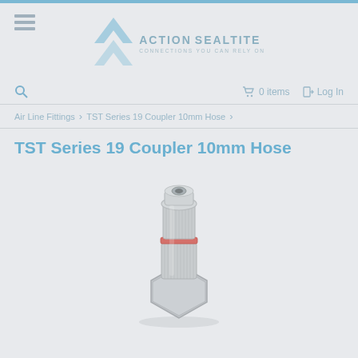Action Sealtite - Connections You Can Rely On
0 items  Log In
Air Line Fittings > TST Series 19 Coupler 10mm Hose >
TST Series 19 Coupler 10mm Hose
[Figure (photo): Close-up photograph of a TST Series 19 Coupler 10mm Hose fitting — a chrome/stainless steel air line coupler with knurled grip sections, a red O-ring band, and a hexagonal base, shown vertically on a light grey background.]